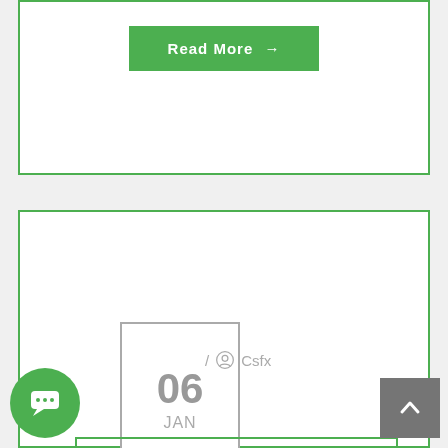Read More →
06 JAN / Csfx
TOP 5 STOCKS TO WATCHOUT AND TRADE TODAY – JANUARY 06, 2020